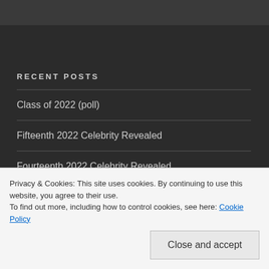RECENT POSTS
Class of 2022 (poll)
Fifteenth 2022 Celebrity Revealed
Fourteenth 2022 Celebrity Revealed
Privacy & Cookies: This site uses cookies. By continuing to use this website, you agree to their use.
To find out more, including how to control cookies, see here: Cookie Policy
Close and accept